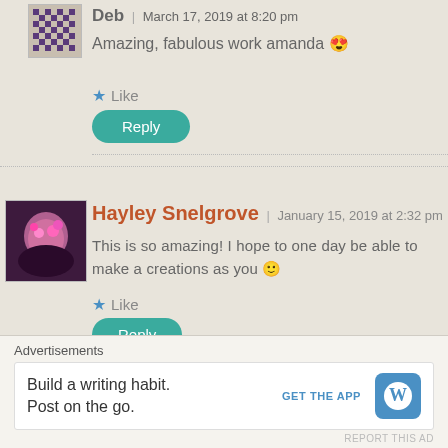Deb | March 17, 2019 at 8:20 pm
Amazing, fabulous work amanda 😍
★ Like
Reply
Hayley Snelgrove | January 15, 2019 at 2:32 pm
This is so amazing! I hope to one day be able to make a creations as you 🙂
★ Like
Reply
Advertisements
Build a writing habit. Post on the go.
GET THE APP
REPORT THIS AD